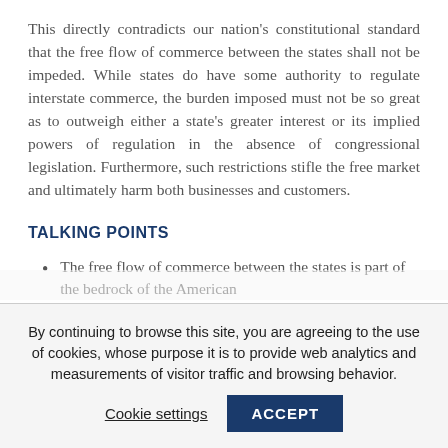This directly contradicts our nation's constitutional standard that the free flow of commerce between the states shall not be impeded. While states do have some authority to regulate interstate commerce, the burden imposed must not be so great as to outweigh either a state's greater interest or its implied powers of regulation in the absence of congressional legislation. Furthermore, such restrictions stifle the free market and ultimately harm both businesses and customers.
TALKING POINTS
The free flow of commerce between the states is part of the bedrock of the American
By continuing to browse this site, you are agreeing to the use of cookies, whose purpose it is to provide web analytics and measurements of visitor traffic and browsing behavior.